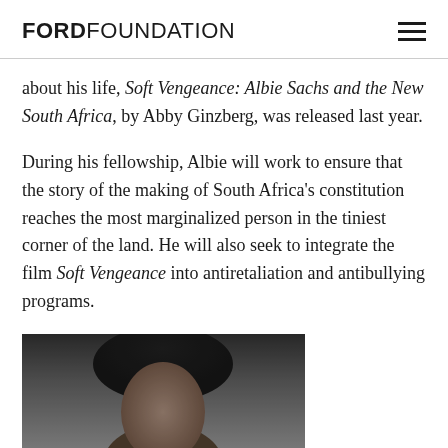FORD FOUNDATION
about his life, Soft Vengeance: Albie Sachs and the New South Africa, by Abby Ginzberg, was released last year.
During his fellowship, Albie will work to ensure that the story of the making of South Africa's constitution reaches the most marginalized person in the tiniest corner of the land. He will also seek to integrate the film Soft Vengeance into antiretaliation and antibullying programs.
[Figure (photo): Black and white portrait photograph of a person with curly hair]